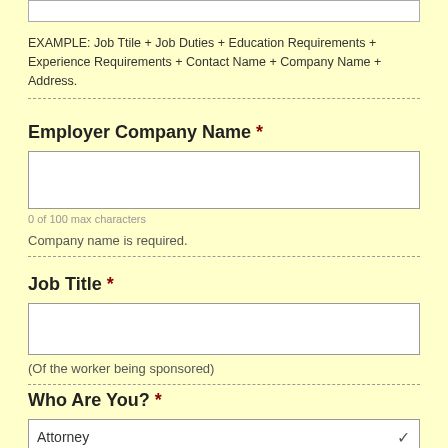EXAMPLE: Job Ttile + Job Duties + Education Requirements + Experience Requirements + Contact Name + Company Name + Address.
Employer Company Name *
0 of 100 max characters
Company name is required.
Job Title *
(Of the worker being sponsored)
Who Are You? *
Attorney